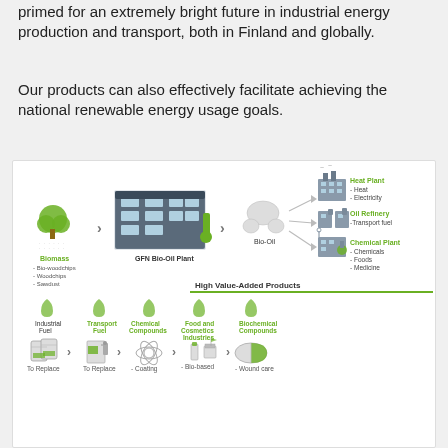primed for an extremely bright future in industrial energy production and transport, both in Finland and globally.
Our products can also effectively facilitate achieving the national renewable energy usage goals.
[Figure (infographic): Infographic showing GFN Bio-Oil Plant process: Biomass (Bio-woodchips, Woodchips, Sawdust) → GFN Bio-Oil Plant → Bio-Oil → Heat Plant (Heat, Electricity), Oil Refinery (Transport fuel), Chemical Plant (Chemicals, Foods, Medicine). Lower section shows High Value-Added Products progression: Industrial Fuel → Transport Fuel → Chemical Compounds → Food and Cosmetics Industries → Biochemical Compounds, with sub-labels To Replace, To Replace, - Coating, - Bio-based, - Wound care.]